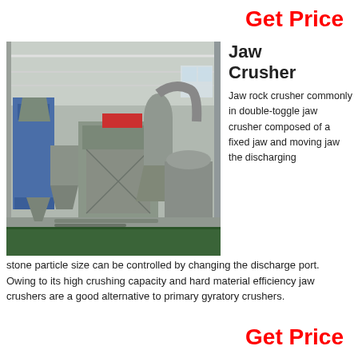Get Price
[Figure (photo): Industrial jaw crusher facility interior showing large grey metal crushing and processing equipment inside a warehouse with steel roof structure and green floor.]
Jaw Crusher
Jaw rock crusher commonly in double-toggle jaw crusher composed of a fixed jaw and moving jaw the discharging stone particle size can be controlled by changing the discharge port. Owing to its high crushing capacity and hard material efficiency jaw crushers are a good alternative to primary gyratory crushers.
Get Price